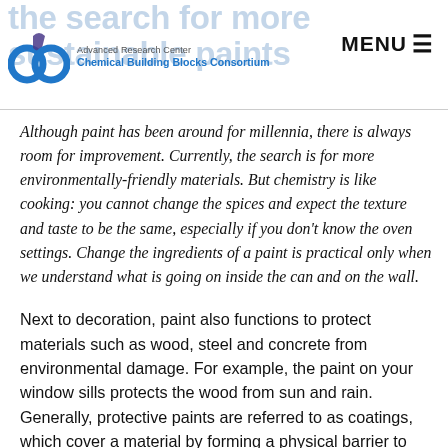Advanced Research Center Chemical Building Blocks Consortium | MENU
Although paint has been around for millennia, there is always room for improvement. Currently, the search is for more environmentally-friendly materials. But chemistry is like cooking: you cannot change the spices and expect the texture and taste to be the same, especially if you don't know the oven settings. Change the ingredients of a paint is practical only when we understand what is going on inside the can and on the wall.
Next to decoration, paint also functions to protect materials such as wood, steel and concrete from environmental damage. For example, the paint on your window sills protects the wood from sun and rain. Generally, protective paints are referred to as coatings, which cover a material by forming a physical barrier to protect it. Corrosion and corrosion...